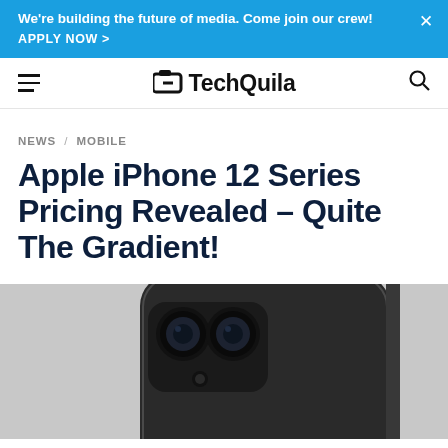We're building the future of media. Come join our crew! APPLY NOW >
TechQuila
NEWS / MOBILE
Apple iPhone 12 Series Pricing Revealed – Quite The Gradient!
[Figure (photo): Rear view of a dark iPhone 12 series smartphone showing dual camera module]